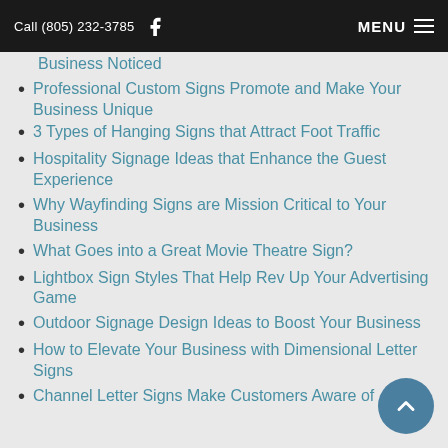Call (805) 232-3785   MENU
Business Noticed
Professional Custom Signs Promote and Make Your Business Unique
3 Types of Hanging Signs that Attract Foot Traffic
Hospitality Signage Ideas that Enhance the Guest Experience
Why Wayfinding Signs are Mission Critical to Your Business
What Goes into a Great Movie Theatre Sign?
Lightbox Sign Styles That Help Rev Up Your Advertising Game
Outdoor Signage Design Ideas to Boost Your Business
How to Elevate Your Business with Dimensional Letter Signs
Channel Letter Signs Make Customers Aware of